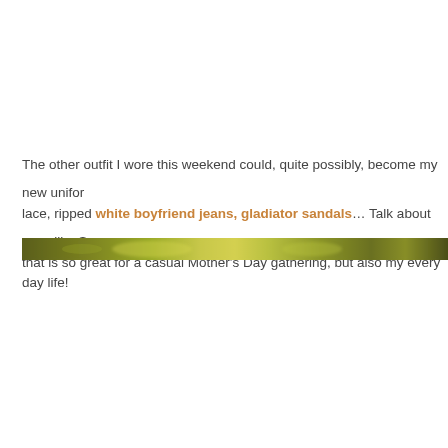The other outfit I wore this weekend could, quite possibly, become my new uniform: lace, ripped white boyfriend jeans, gladiator sandals… Talk about easy like Sunday morning that is so great for a casual Mother's Day gathering, but also my every day life!
[Figure (photo): A narrow horizontal decorative banner image with an olive/yellow-green gradient texture, approximately 20px tall, spanning the full width of the page.]